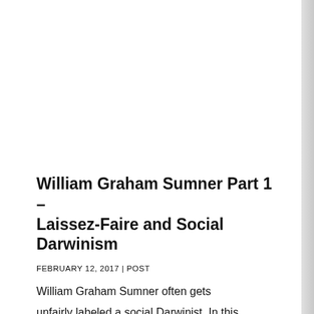William Graham Sumner Part 1 – Laissez-Faire and Social Darwinism
FEBRUARY 12, 2017 | POST
William Graham Sumner often gets unfairly labeled a social Darwinist. In this first post in a new series, Zwolinski tries